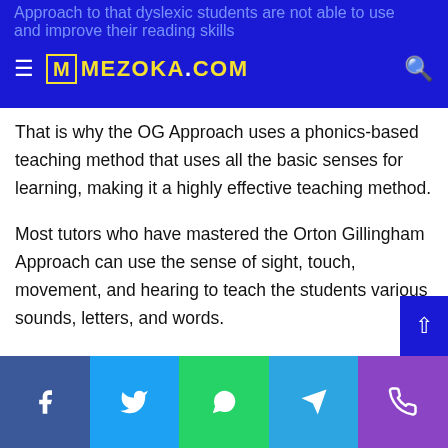mezoka.com
That is why the OG Approach uses a phonics-based teaching method that uses all the basic senses for learning, making it a highly effective teaching method.
Most tutors who have mastered the Orton Gillingham Approach can use the sense of sight, touch, movement, and hearing to teach the students various sounds, letters, and words.
Simplifies Reading
Even with the OG Approach, it can be pretty tricky for the students to get the hang of the language. Moreover, it is not possible to teach dyslexic students in a generic educational
Facebook Twitter WhatsApp Telegram Phone